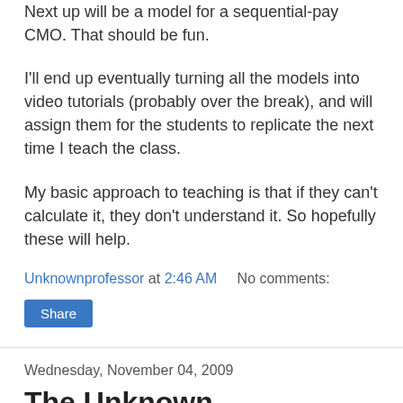Next up will be a model for a sequential-pay CMO. That should be fun.
I'll end up eventually turning all the models into video tutorials (probably over the break), and will assign them for the students to replicate the next time I teach the class.
My basic approach to teaching is that if they can't calculate it, they don't understand it. So hopefully these will help.
Unknownprofessor at 2:46 AM    No comments:
Share
Wednesday, November 04, 2009
The Unknown Colonoscopy
Disclaimer: the following post is not for the faint of heart (or for those who have an overly developed sense of propriety). But then again, most of my readers aren't in those